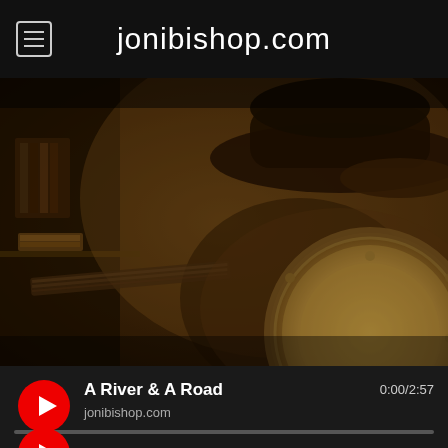jonibishop.com
[Figure (photo): Sepia-toned photo of a musician wearing a wide-brim hat near a drum and guitar, in a studio or performance setting]
A River & A Road
jonibishop.com
0:00/2:57